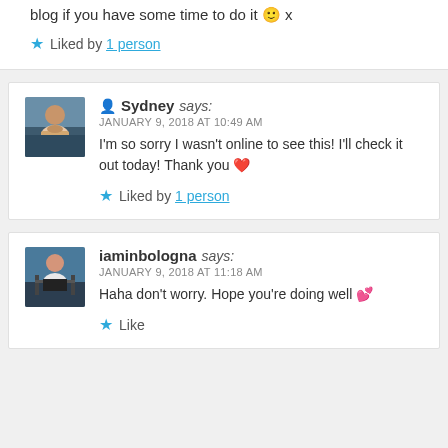blog if you have some time to do it 🙂 x
★ Liked by 1 person
👤 Sydney says: JANUARY 9, 2018 AT 10:49 AM I'm so sorry I wasn't online to see this! I'll check it out today! Thank you ❤ ★ Liked by 1 person
iaminbologna says: JANUARY 9, 2018 AT 11:18 AM Haha don't worry. Hope you're doing well 💕 ★ Like